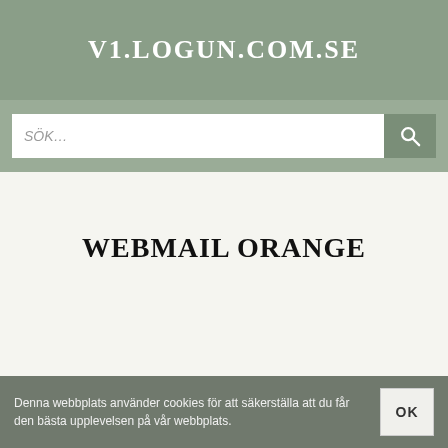V1.LOGUN.COM.SE
[Figure (other): Search bar with text input field showing 'SÖK…' placeholder and a search button with magnifying glass icon]
WEBMAIL ORANGE
Denna webbplats använder cookies för att säkerställa att du får den bästa upplevelsen på vår webbplats.